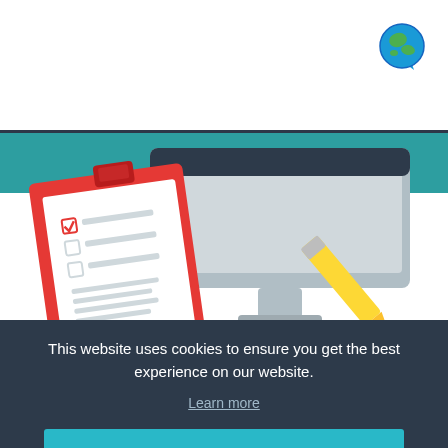[Figure (illustration): Illustration showing a clipboard with a checklist, a desktop monitor, and a yellow pencil/marker on a dark teal background, depicting custom forms concept.]
Custom Forms
This website uses cookies to ensure you get the best experience on our website.
Learn more
Got it!